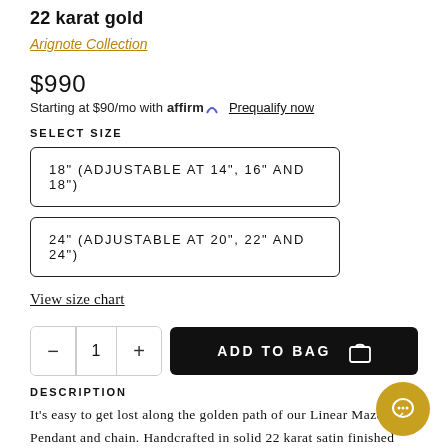22 karat gold
Arignote Collection
$990
Starting at $90/mo with affirm. Prequalify now
SELECT SIZE
18" (ADJUSTABLE AT 14", 16" AND 18")
24" (ADJUSTABLE AT 20", 22" AND 24")
View size chart
1  ADD TO BAG
DESCRIPTION
It's easy to get lost along the golden path of our Linear Maze Pendant and chain. Handcrafted in solid 22 karat satin finished gold